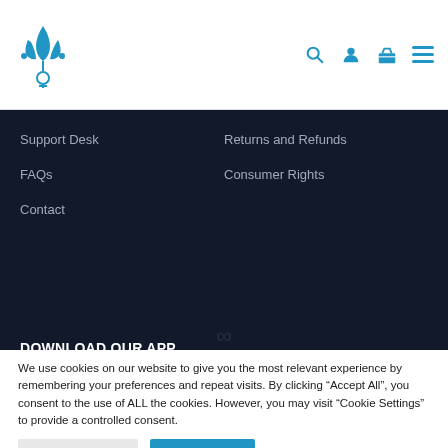[Figure (logo): Blue lotus/leaf plant logo with female symbol beneath]
[Figure (infographic): Navigation icons: search, user, shopping basket, hamburger menu in blue]
Support Desk
Returns and Refunds
FAQs
Consumer Rights
Contact
DOWNLOAD OUR APP
We use cookies on our website to give you the most relevant experience by remembering your preferences and repeat visits. By clicking “Accept All”, you consent to the use of ALL the cookies. However, you may visit “Cookie Settings” to provide a controlled consent.
Cookie Settings
Accept All